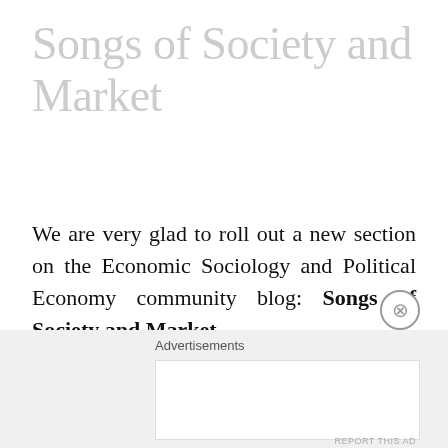Songs of Society and Market
We are very glad to roll out a new section on the Economic Sociology and Political Economy community blog: Songs of Society and Market.
Given the centrality of economic transactions to our lives, it is no surprise that they constitute a common motive in music. Money and debt, wor…
Advertisements